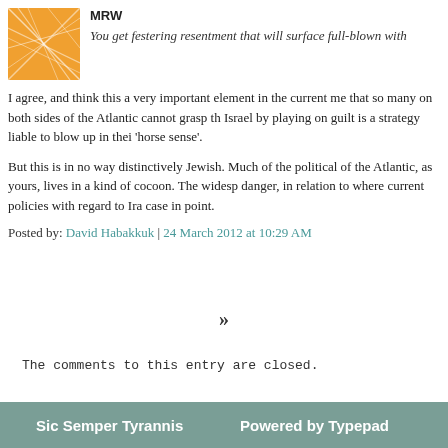MRW
You get festering resentment that will surface full-blown with
I agree, and think this a very important element in the current... me that so many on both sides of the Atlantic cannot grasp th... Israel by playing on guilt is a strategy liable to blow up in thei... 'horse sense'.
But this is in no way distinctively Jewish. Much of the political... of the Atlantic, as yours, lives in a kind of cocoon. The widesp... danger, in relation to where current policies with regard to Ira... case in point.
Posted by: David Habakkuk | 24 March 2012 at 10:29 AM
»
The comments to this entry are closed.
Sic Semper Tyrannis    Powered by Typepad